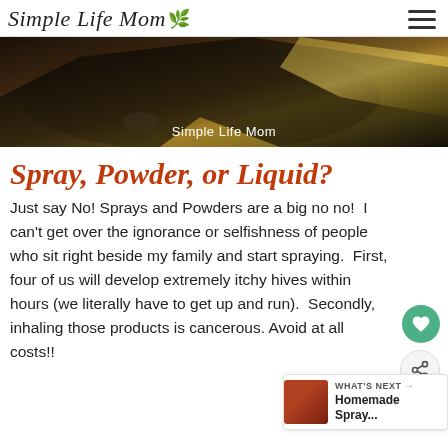Simple Life Mom
[Figure (photo): Dark moody close-up photo of what appears to be liquid or oil with 'Simple Life Mom' text overlay at the bottom]
Spray, Powder, or Liquid?
Just say No! Sprays and Powders are a big no no!  I can't get over the ignorance or selfishness of people who sit right beside my family and start spraying.  First, four of us will develop extremely itchy hives within hours (we literally have to get up and run).  Secondly, inhaling those products is cancerous. Avoid at all costs!!